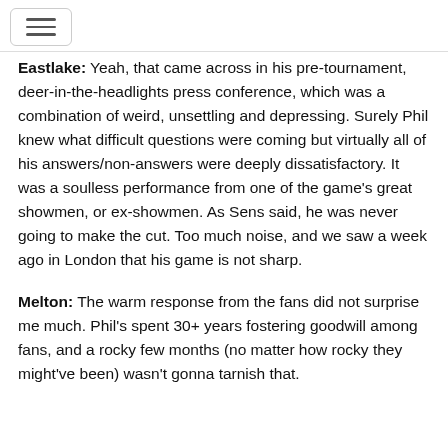Eastlake: Yeah, that came across in his pre-tournament, deer-in-the-headlights press conference, which was a combination of weird, unsettling and depressing. Surely Phil knew what difficult questions were coming but virtually all of his answers/non-answers were deeply dissatisfactory. It was a soulless performance from one of the game's great showmen, or ex-showmen. As Sens said, he was never going to make the cut. Too much noise, and we saw a week ago in London that his game is not sharp.
Melton: The warm response from the fans did not surprise me much. Phil's spent 30+ years fostering goodwill among fans, and a rocky few months (no matter how rocky they might've been) wasn't gonna tarnish that.